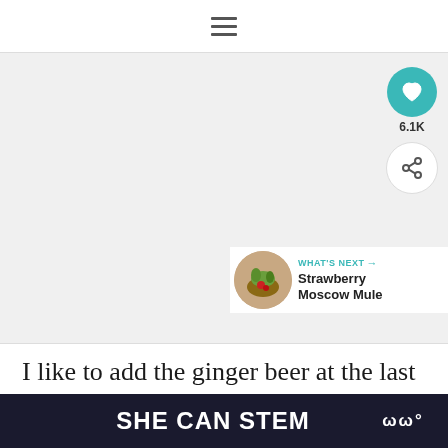≡ (hamburger menu / navigation bar)
[Figure (other): Large blank/light grey image area taking up most of the upper portion of the page, representing a recipe photo placeholder]
[Figure (infographic): Social sidebar with teal heart button showing 6.1K likes and a share button]
[Figure (infographic): What's Next panel with circular food photo and text 'WHAT'S NEXT → Strawberry Moscow Mule']
I like to add the ginger beer at the last second before serving, because I like my cocktails to be nice and fizzy. So y mix up a pitcher of the vodka, simple syrup,
SHE CAN STEM